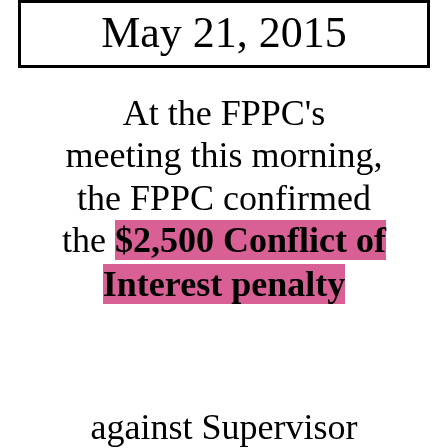May 21, 2015
At the FPPC's meeting this morning, the FPPC confirmed the $2,500 Conflict of Interest penalty against Supervisor